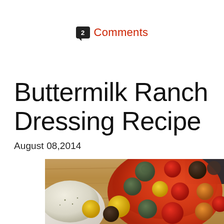2 Comments
Buttermilk Ranch Dressing Recipe
August 08,2014
[Figure (photo): Photo of a white bowl of buttermilk ranch dressing beside colorful heirloom cherry tomatoes (red, yellow, green, dark) in an orange bowl on a wooden cutting board.]